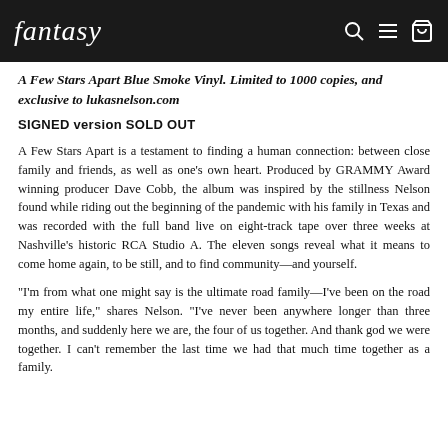fantasy [logo] [search] [menu] [cart]
A Few Stars Apart Blue Smoke Vinyl. Limited to 1000 copies, and exclusive to lukasnelson.com
SIGNED version SOLD OUT
A Few Stars Apart is a testament to finding a human connection: between close family and friends, as well as one’s own heart. Produced by GRAMMY Award winning producer Dave Cobb, the album was inspired by the stillness Nelson found while riding out the beginning of the pandemic with his family in Texas and was recorded with the full band live on eight-track tape over three weeks at Nashville’s historic RCA Studio A. The eleven songs reveal what it means to come home again, to be still, and to find community—and yourself.
“I’m from what one might say is the ultimate road family—I’ve been on the road my entire life,” shares Nelson. “I’ve never been anywhere longer than three months, and suddenly here we are, the four of us together. And thank god we were together. I can’t remember the last time we had that much time together as a family.